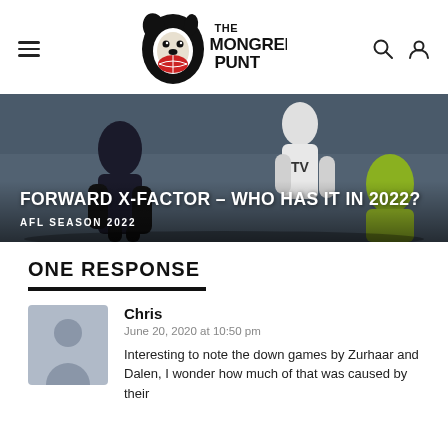The Mongrel Punt
[Figure (illustration): The Mongrel Punt logo with a dog holding a football and bold text THE MONGREL PUNT]
[Figure (photo): AFL players in action, hero banner image for article about Forward X-Factor in 2022]
FORWARD X-FACTOR – WHO HAS IT IN 2022?
AFL SEASON 2022
ONE RESPONSE
Chris
June 20, 2020 at 10:50 pm
Interesting to note the down games by Zurhaar and Dalen, I wonder how much of that was caused by their